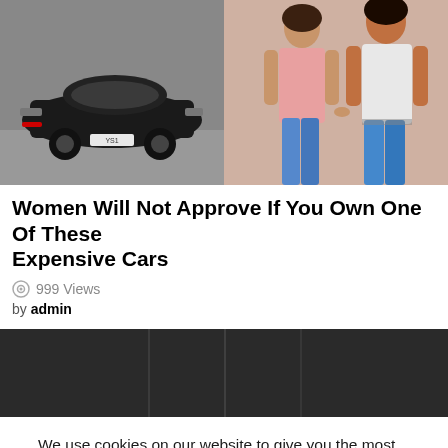[Figure (photo): Split image: left side shows a dark sports car (Nissan GT-R) on a road, right side shows two women standing, one in pink top and one in white top with jeans.]
Women Will Not Approve If You Own One Of These Expensive Cars
999 Views
by admin
[Figure (photo): Dark, nearly black image, appears to be a night or dark scene, possibly a car or road setting.]
We use cookies on our website to give you the most relevant experience by remembering your preferences and repeat visits. By clicking "Accept", you consent to the use of ALL the cookies.
Cookie settings  ACCEPT